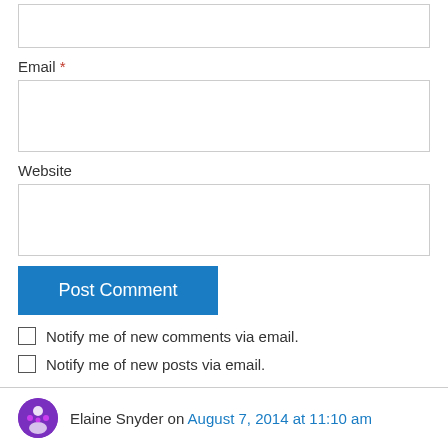Email *
Website
Post Comment
Notify me of new comments via email.
Notify me of new posts via email.
Elaine Snyder on August 7, 2014 at 11:10 am